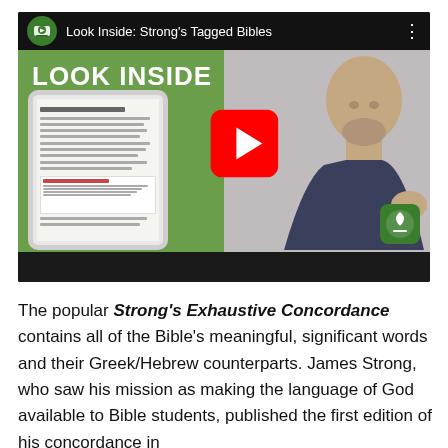[Figure (screenshot): YouTube video thumbnail titled 'Look Inside: Strong's Tagged Bibles' showing a bald man in a dark shirt, a tablet displaying a Bible concordance page, text 'LOOK INSIDE Strong's Tagged' on a green background, and a red YouTube play button.]
The popular Strong's Exhaustive Concordance contains all of the Bible's meaningful, significant words and their Greek/Hebrew counterparts. James Strong, who saw his mission as making the language of God available to Bible students, published the first edition of his concordance in